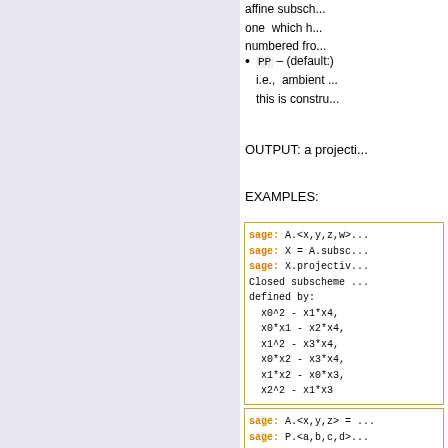affine subsch... one which h... numbered fro...
PP – (default:) i.e., ambient ... this is constru...
OUTPUT: a projecti...
EXAMPLES:
[Figure (screenshot): Code block showing sage commands: A.<x,y,z,w>; X = A.subsc...; X.projectiv...; output: Closed subscheme defined by: x0^2 - x1*x4, x0*x1 - x2*x4, x1^2 - x3*x4, x0*x2 - x3*x4, x1*x2 - x0*x3, x2^2 - x1*x3]
[Figure (screenshot): Code block showing sage commands: A.<x,y,z> = ...; P.<a,b,c,d> ...]